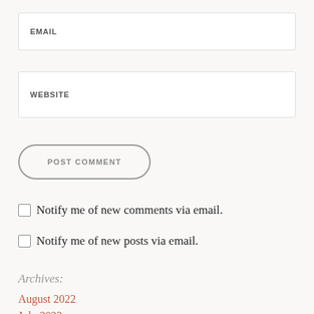EMAIL
WEBSITE
POST COMMENT
Notify me of new comments via email.
Notify me of new posts via email.
Archives:
August 2022
July 2022